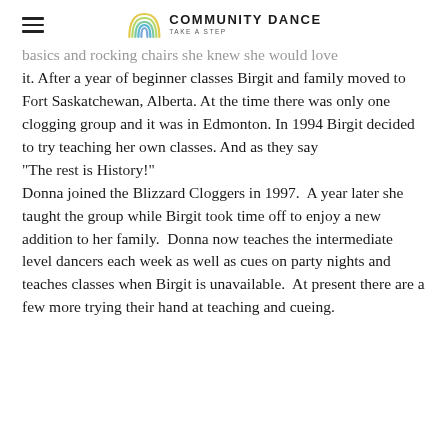COMMUNITY DANCE TAKE A STEP
basics and rocking chairs she knew she would love it. After a year of beginner classes Birgit and family moved to Fort Saskatchewan, Alberta. At the time there was only one clogging group and it was in Edmonton. In 1994 Birgit decided to try teaching her own classes. And as they say
"The rest is History!"
Donna joined the Blizzard Cloggers in 1997.  A year later she taught the group while Birgit took time off to enjoy a new addition to her family.  Donna now teaches the intermediate level dancers each week as well as cues on party nights and teaches classes when Birgit is unavailable.  At present there are a few more trying their hand at teaching and cueing.